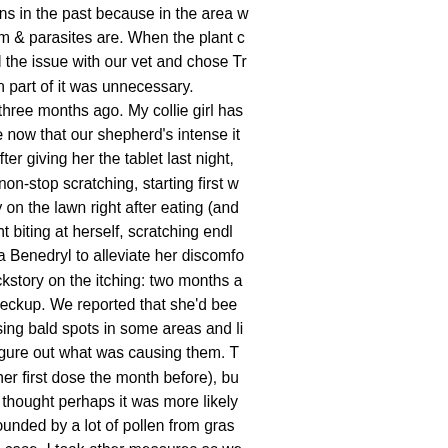medications in the past because in the area where we live, heart worm & parasites are. When the plant discussed the issue with our vet and chose Tr prevention part of it was unnecessary. This was three months ago. My collie girl has me…I see now that our shepherd's intense it Trifexis. After giving her the tablet last night, a rage of non-stop scratching, starting first w vigorously on the lawn right after eating (and entire night biting at herself, scratching endl gave her a Benedryl to alleviate her discomfo Some backstory on the itching: two months a annual checkup. We reported that she'd bee even causing bald spots in some areas and li couldn't figure out what was causing them. T received her first dose the month before), bu there and thought perhaps it was more likely area surrounded by a lot of pollen from gras But just in case, I took other measures as we kibble, I switched both the dogs to a raw foo bothering our Quinnie. I vacuumed the hou